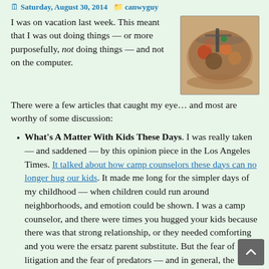Saturday, August 30, 2014   canwyguy
I was on vacation last week. This meant that I was out doing things — or more purposefully, not doing things — and not on the computer. There were a few articles that caught my eye… and most are worthy of some discussion:
[Figure (photo): A photo of food in a pan or bowl, appearing to be a stew or mixed dish with vegetables and meat]
What's A Matter With Kids These Days. I was really taken — and saddened — by this opinion piece in the Los Angeles Times. It talked about how camp counselors these days can no longer hug our kids. It made me long for the simpler days of my childhood — when children could run around neighborhoods, and emotion could be shown. I was a camp counselor, and there were times you hugged your kids because there was that strong relationship, or they needed comforting and you were the ersatz parent substitute. But the fear of litigation and the fear of predators — and in general, the whole business of